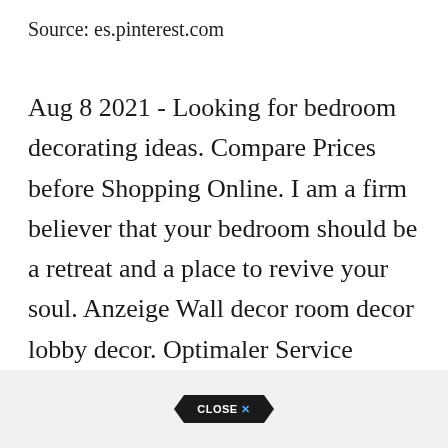Source: es.pinterest.com
Aug 8 2021 - Looking for bedroom decorating ideas. Compare Prices before Shopping Online. I am a firm believer that your bedroom should be a retreat and a place to revive your soul. Anzeige Wall decor room decor lobby decor. Optimaler Service exzellente Beratung und hohe Produktqualität zum guten Preis.
[Figure (other): Advertisement bar at the bottom with a dark CLOSE X button]